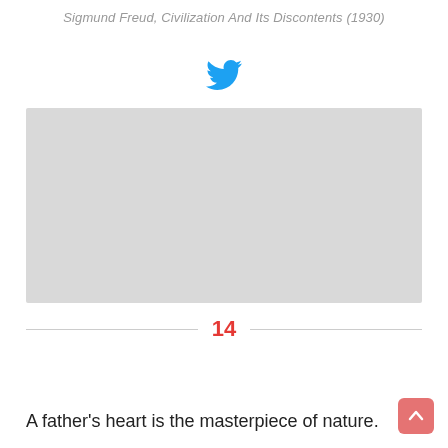Sigmund Freud, Civilization And Its Discontents (1930)
[Figure (logo): Twitter bird logo in blue]
[Figure (photo): Gray placeholder image box]
14
A father’s heart is the masterpiece of nature.